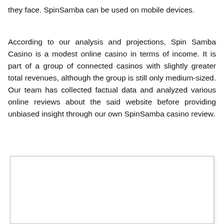they face. SpinSamba can be used on mobile devices.
According to our analysis and projections, Spin Samba Casino is a modest online casino in terms of income. It is part of a group of connected casinos with slightly greater total revenues, although the group is still only medium-sized. Our team has collected factual data and analyzed various online reviews about the said website before providing unbiased insight through our own SpinSamba casino review.
[Figure (other): Partially visible image or screenshot box at the bottom of the page, mostly white/blank]